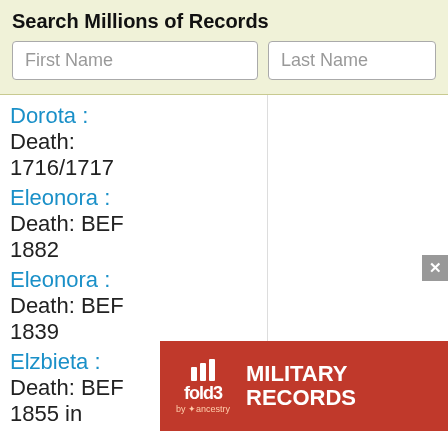Search Millions of Records
[Figure (screenshot): Search form with First Name and Last Name input fields on a light yellow-green background]
Dorota : Death: 1716/1717
Eleonora : Death: BEF 1882
Eleonora : Death: BEF 1839
Elzbieta : Death: BEF 1855 in Kopiska, parish: Kaski near: Baranow
[Figure (screenshot): fold3 by Ancestry advertisement banner for Military Records with Search Now button and soldier photo]